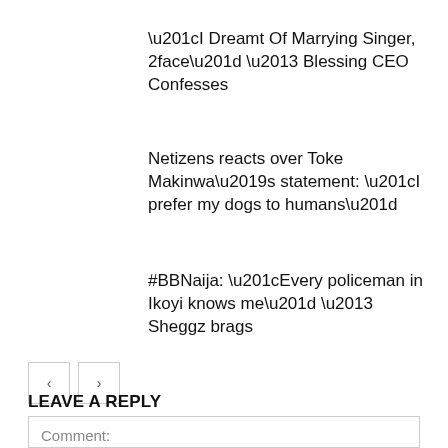“I Dreamt Of Marrying Singer, 2face” – Blessing CEO Confesses
Netizens reacts over Toke Makinwa’s statement: “I prefer my dogs to humans”
#BBNaija: “Every policeman in Ikoyi knows me” – Sheggz brags
LEAVE A REPLY
Comment: